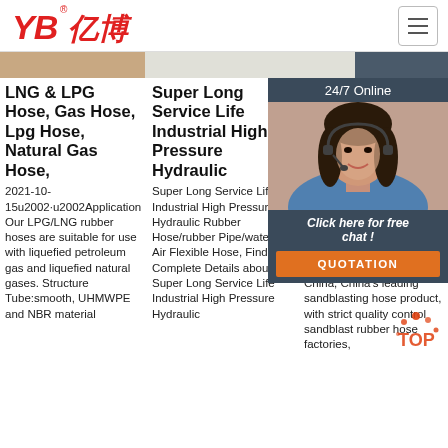[Figure (logo): YB亿博 logo in red italic text with registered trademark symbol]
[Figure (photo): Hero banner strip with product/person images]
LNG & LPG Hose, Gas Hose, Lpg Hose, Natural Gas Hose,
2021-10-15u2002·u2002Application
Our LPG/LNG rubber hoses are suitable for use with liquefied petroleum gas and liquefied natural gases. Structure Tube:smooth, UHMWPE and NBR material
Super Long Service Life Industrial High Pressure Hydraulic
Super Long Service Life Industrial High Pressure Hydraulic Rubber Hose/rubber Pipe/water Oil Air Flexible Hose, Find Complete Details about Super Long Service Life Industrial High Pressure Hydraulic
Ab... Bla... Ru... Pip...
[Figure (photo): 24/7 Online customer service agent photo with headset, smiling woman]
Click here for free chat !
QUOTATION
Hig... Abr... Bla... Hos... Res... Ser... China, China's leading sandblasting hose product, with strict quality control sandblast rubber hose factories,